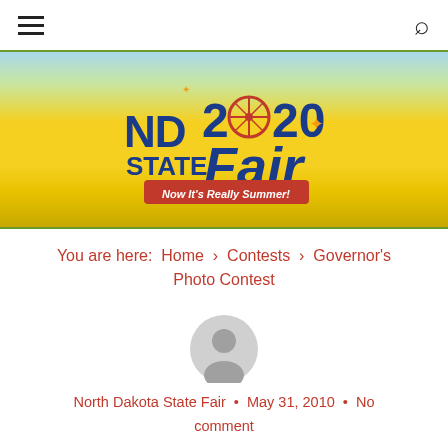ND State Fair 2020 — Now It's Really Summer!
You are here: Home › Contests › Governor's Photo Contest
[Figure (illustration): Generic user/author avatar icon — gray circular silhouette of a person]
North Dakota State Fair · May 31, 2010 · No comment
Governor's Photo Contest